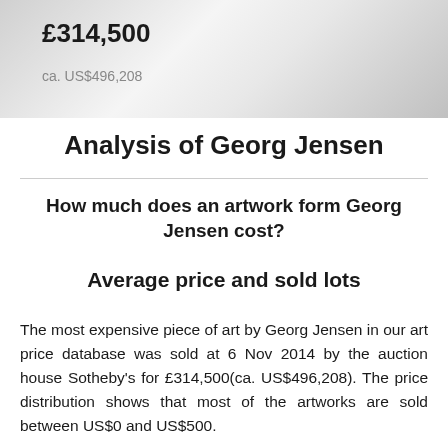[Figure (other): Banner area showing auction price £314,500 and ca. US$496,208 on a silver/grey gradient background]
Analysis of Georg Jensen
How much does an artwork form Georg Jensen cost?
Average price and sold lots
The most expensive piece of art by Georg Jensen in our art price database was sold at 6 Nov 2014 by the auction house Sotheby's for £314,500(ca. US$496,208). The price distribution shows that most of the artworks are sold between US$0 and US$500.